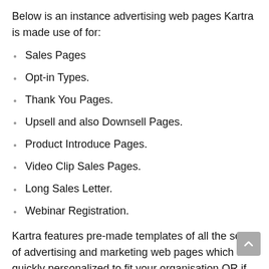Below is an instance advertising web pages Kartra is made use of for:
Sales Pages
Opt-in Types.
Thank You Pages.
Upsell and also Downsell Pages.
Product Introduce Pages.
Video Clip Sales Pages.
Long Sales Letter.
Webinar Registration.
Kartra features pre-made templates of all the sorts of advertising and marketing web pages which are quickly personalized to fit your organisation OR if your feeling